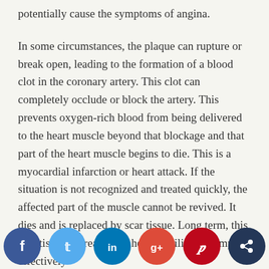potentially cause the symptoms of angina.
In some circumstances, the plaque can rupture or break open, leading to the formation of a blood clot in the coronary artery. This clot can completely occlude or block the artery. This prevents oxygen-rich blood from being delivered to the heart muscle beyond that blockage and that part of the heart muscle begins to die. This is a myocardial infarction or heart attack. If the situation is not recognized and treated quickly, the affected part of the muscle cannot be revived. It dies and is replaced by scar tissue. Long term, this scar tissue decreases the heart's ability to pump effectively and leads them cardiom ically-based
[Figure (infographic): Social media sharing buttons row: Facebook (blue), Twitter (light blue), LinkedIn (dark blue), Google+ (red), Pinterest (dark red), Share (navy)]